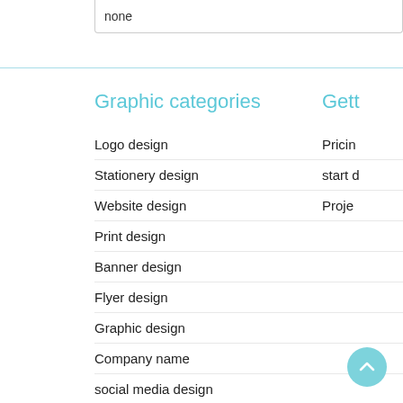none
Graphic categories
Gett
Logo design
Pricin
Stationery design
start d
Website design
Proje
Print design
Banner design
Flyer design
Graphic design
Company name
social media design